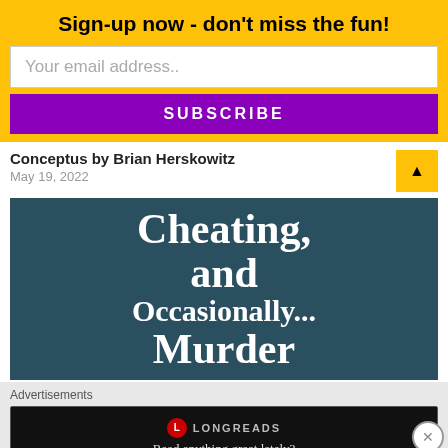Sign-up now - don't miss the fun!
Your email address..
SUBSCRIBE
Conceptus by Brian Herskowitz
May 19, 2022
[Figure (photo): Book cover image showing text: Cheating, and Occasionally... Murder on a dark teal background]
Advertisements
[Figure (screenshot): Longreads advertisement banner with logo and tagline 'Read anything great lately?' on black background]